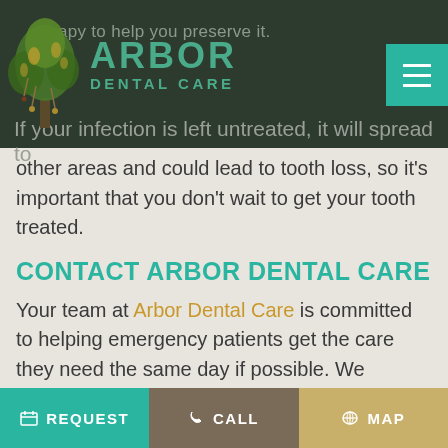Arbor Dental Care
happy to help you preserve it. If your infection is left untreated, it will spread to other areas and could lead to tooth loss, so it's important that you don't wait to get your tooth treated.
CONTACT ARBOR DENTAL CARE
Your team at Arbor Dental Care is committed to helping emergency patients get the care they need the same day if possible. We understand that dental pain can become quite debilitating and we make every effort to get you feeling comfortable
REQUEST   CALL   MAP